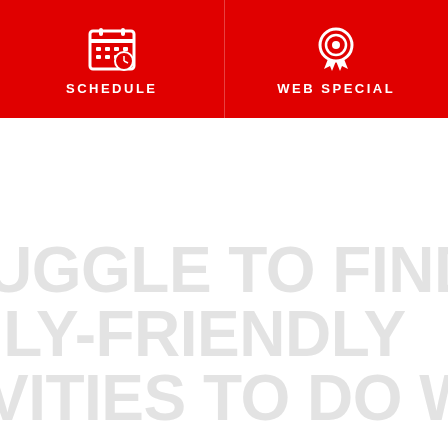SCHEDULE | WEB SPECIAL
UGGLE TO FIND ILY-FRIENDLY VITIES TO DO WITH R CHILDREN
worry that their kids don't understand the e of exercise and wonder if that's because as hey don't make time to work out in their own
n't many workouts that can be shared by adults n. Cheering from the sidelines isn't the same as ething together